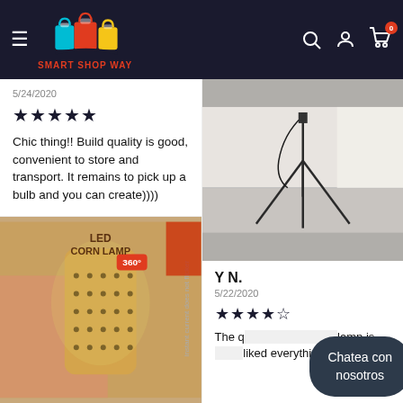Smart Shop Way - Navigation header with logo, search, account, and cart icons
5/24/2020
★★★★★
Chic thing!! Build quality is good, convenient to store and transport. It remains to pick up a bulb and you can create))))
[Figure (photo): Photo of LED Corn Lamp product packaging held in hand, showing the bulb with text 'LED CORN LAMP', '360°', and 'instant current does not flicker']
[Figure (photo): Photo of a light stand/tripod on a concrete floor against a white wall]
Y N.
5/22/2020
★★★★☆
The q... lamp is ... liked everything
Chatea con nosotros